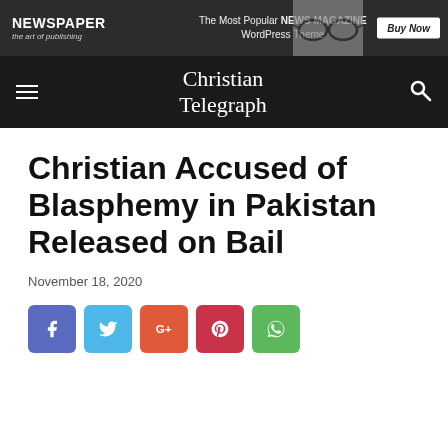[Figure (other): Newspaper WordPress theme advertisement banner with logo, tagline 'The Most Popular NEWS MAGAZINE WordPress Theme', glasses photo, and Buy Now button]
Christian Telegraph
Christian Accused of Blasphemy in Pakistan Released on Bail
November 18, 2020
[Figure (other): Social media share buttons: Facebook, Twitter, Google+, Pinterest, WhatsApp]